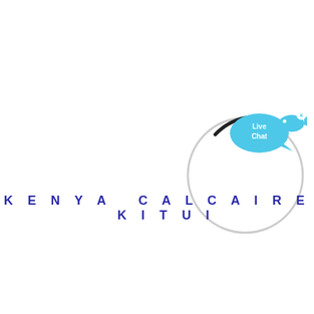[Figure (other): A loading spinner circle: a thin light-gray circle with a small black arc segment at the top-left, indicating a loading/progress indicator]
[Figure (illustration): A live chat widget button in the upper right area: a cyan/blue speech bubble with 'Live Chat' text, and a small blue fish icon with an 'x' close button]
KENYA CALCAIRE KITUI